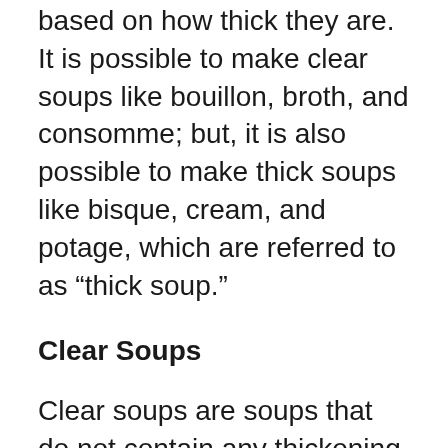based on how thick they are. It is possible to make clear soups like bouillon, broth, and consomme; but, it is also possible to make thick soups like bisque, cream, and potage, which are referred to as “thick soup.”
Clear Soups
Clear soups are soups that do not contain any thickening agents and come in a variety of various flavors to choose from. Thick soups, on the other hand, are thickened by adding flour, cornstarch, or vegetables to the broth to thicken it.
They are all the same thing and are referred to as “clear soups” in general. It takes a long time to prepare them because bones, meat